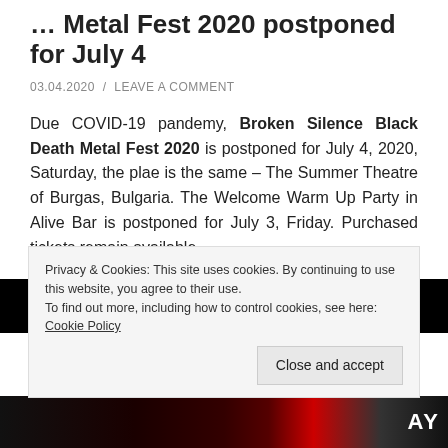… Metal Fest 2020 postponed for July 4
03.04.2020 / LEAVE A COMMENT
Due COVID-19 pandemy, Broken Silence Black Death Metal Fest 2020 is postponed for July 4, 2020, Saturday, the plae is the same – The Summer Theatre of Burgas, Bulgaria. The Welcome Warm Up Party in Alive Bar is postponed for July 3, Friday. Purchased tickets remain available.
[Figure (photo): Black bar / top portion of event poster image]
Privacy & Cookies: This site uses cookies. By continuing to use this website, you agree to their use.
To find out more, including how to control cookies, see here: Cookie Policy
Close and accept
[Figure (photo): Bottom strip of event poster showing partial band imagery and letters AY]